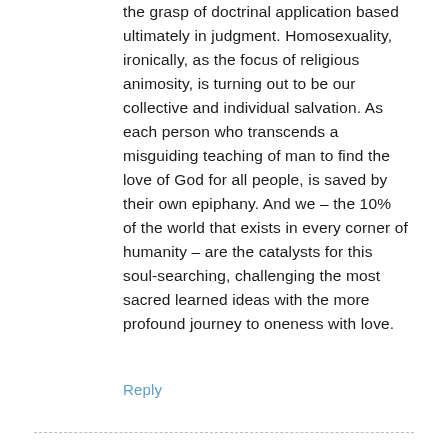the grasp of doctrinal application based ultimately in judgment. Homosexuality, ironically, as the focus of religious animosity, is turning out to be our collective and individual salvation. As each person who transcends a misguiding teaching of man to find the love of God for all people, is saved by their own epiphany. And we – the 10% of the world that exists in every corner of humanity – are the catalysts for this soul-searching, challenging the most sacred learned ideas with the more profound journey to oneness with love.
Reply